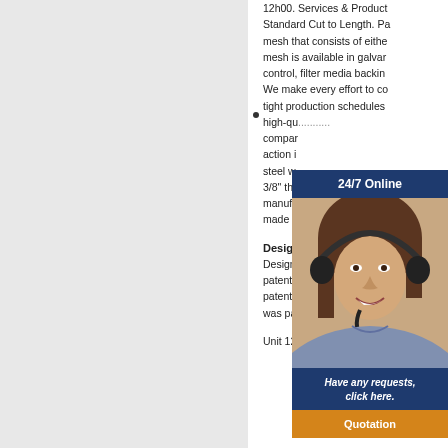12h00. Services & Products: Standard Cut to Length. Panel mesh that consists of either... mesh is available in galvan... control, filter media backin... We make every effort to co... tight production schedules... high-qu... compan... action i... steel w... 3/8" thi... manufa... made t...
[Figure (photo): Customer service representative woman wearing headset, with overlay widget showing 24/7 Online support, Have any requests click here, and Quotation button]
Desig...
Design... patente... patente... was patented in April of 19...
Unit 12b, Devonshire road...